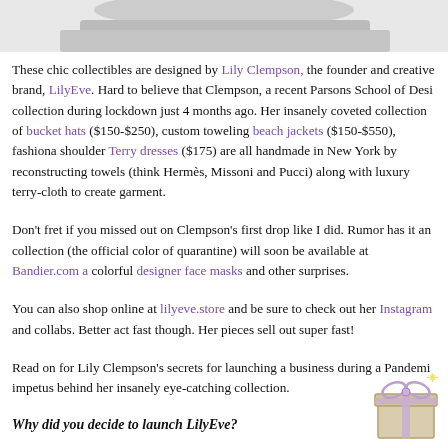[Figure (photo): Partial image at top of page, appears to be a hat or garment product photo, cropped]
These chic collectibles are designed by Lily Clempson, the founder and creative brand, LilyEve. Hard to believe that Clempson, a recent Parsons School of Design collection during lockdown just 4 months ago. Her insanely coveted collection of bucket hats ($150-$250), custom toweling beach jackets ($150-$550), fashionable shoulder Terry dresses ($175) are all handmade in New York by reconstructing towels (think Hermès, Missoni and Pucci) along with luxury terry-cloth to create garment.
Don't fret if you missed out on Clempson's first drop like I did. Rumor has it an e collection (the official color of quarantine) will soon be available at Bandier.com a colorful designer face masks and other surprises.
You can also shop online at lilyeve.store and be sure to check out her Instagram and collabs. Better act fast though. Her pieces sell out super fast!
Read on for Lily Clempson's secrets for launching a business during a Pandemic impetus behind her insanely eye-catching collection.
Why did you decide to launch LilyEve?
[Figure (illustration): Gift box icon with bow, decorative element in bottom right corner]